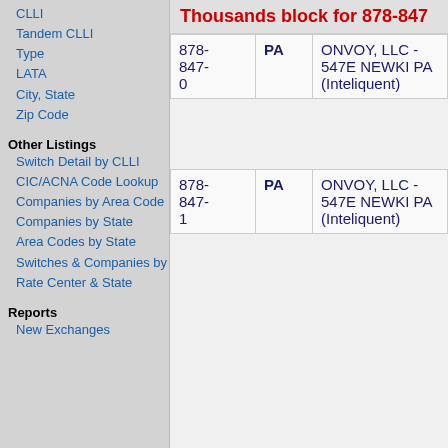CLLI
Tandem CLLI
Type
LATA
City, State
Zip Code
Other Listings
Switch Detail by CLLI
CIC/ACNA Code Lookup
Companies by Area Code
Companies by State
Area Codes by State
Switches & Companies by Rate Center & State
Reports
New Exchanges
Thousands block for 878-847
| Number | State | Company | Switch |
| --- | --- | --- | --- |
| 878-847-0 | PA | ONVOY, LLC - 547E NEWKI PA (Inteliquent) |  |
| 878-847-1 | PA | ONVOY, LLC - 547E NEWKI PA (Inteliquent) |  |